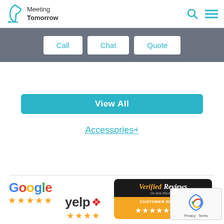Meeting Tomorrow
Call | Chat | Quote
View All
Accessories+
[Figure (logo): Google five-star rating badge]
[Figure (logo): Verified Reviews Customer Reviews 4.9/5 badge]
[Figure (logo): Yelp logo with star rating]